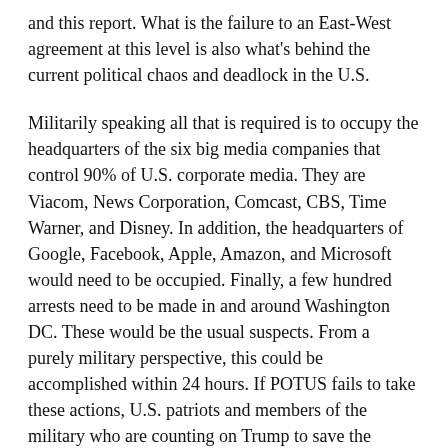and this report. What is the failure to an East-West agreement at this level is also what's behind the current political chaos and deadlock in the U.S.
Militarily speaking all that is required is to occupy the headquarters of the six big media companies that control 90% of U.S. corporate media. They are Viacom, News Corporation, Comcast, CBS, Time Warner, and Disney. In addition, the headquarters of Google, Facebook, Apple, Amazon, and Microsoft would need to be occupied. Finally, a few hundred arrests need to be made in and around Washington DC. These would be the usual suspects. From a purely military perspective, this could be accomplished within 24 hours. If POTUS fails to take these actions, U.S. patriots and members of the military who are counting on Trump to save the Constitutional Republic need to ask themselves some hard questions.
※※※※※※※※※※※※